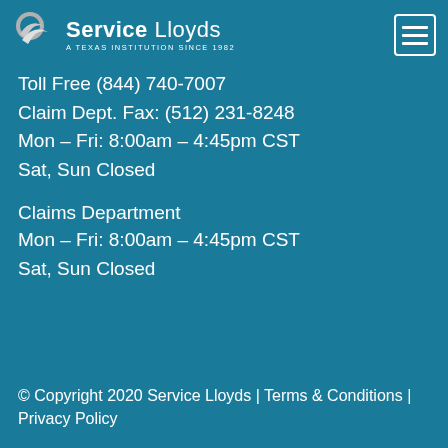[Figure (logo): Service Lloyds logo — swoosh icon on left, 'Service Lloyds' text with tagline 'A TEXAS INSTITUTION SINCE 1982' on right]
Toll Free (844) 740-7007
Claim Dept. Fax: (512) 231-8248
Mon – Fri: 8:00am – 4:45pm CST
Sat, Sun Closed
Claims Department
Mon – Fri: 8:00am – 4:45pm CST
Sat, Sun Closed
© Copyright 2020 Service Lloyds | Terms & Conditions | Privacy Policy